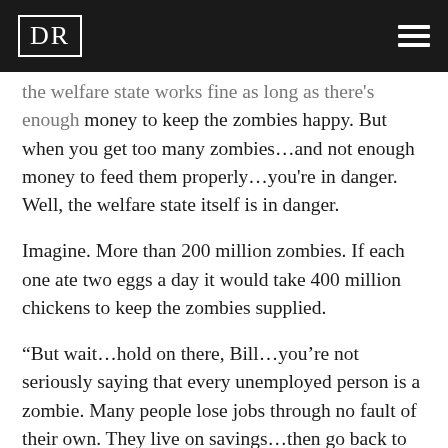DR
the welfare state works fine as long as there's enough money to keep the zombies happy. But when you get too many zombies…and not enough money to feed them properly…you're in danger. Well, the welfare state itself is in danger.
Imagine. More than 200 million zombies. If each one ate two eggs a day it would take 400 million chickens to keep the zombies supplied.
“But wait…hold on there, Bill…you’re not seriously saying that every unemployed person is a zombie. Many people lose jobs through no fault of their own. They live on savings…then go back to work. That is hardly the mark of a zombie.”